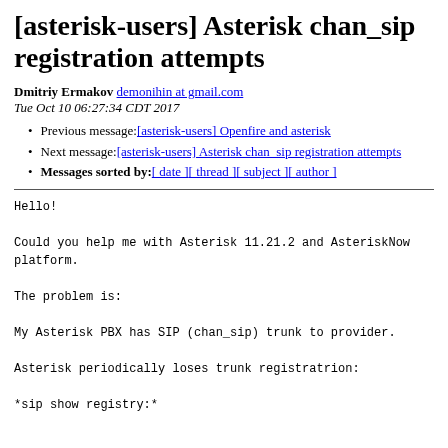[asterisk-users] Asterisk chan_sip registration attempts
Dmitriy Ermakov demonihin at gmail.com
Tue Oct 10 06:27:34 CDT 2017
Previous message: [asterisk-users] Openfire and asterisk
Next message: [asterisk-users] Asterisk chan_sip registration attempts
Messages sorted by: [ date ] [ thread ] [ subject ] [ author ]
Hello!

Could you help me with Asterisk 11.21.2 and AsteriskNow
platform.

The problem is:

My Asterisk PBX has SIP (chan_sip) trunk to provider.

Asterisk periodically loses trunk registratrion:

*sip show registry:*